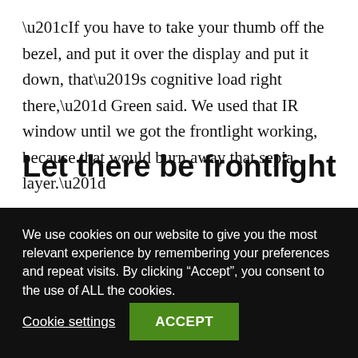“If you have to take your thumb off the bezel, and put it over the display and put it down, that’s cognitive load right there,” Green said. We used that IR window until we got the frontlight working, because that would burn away that sepia layer.”
Let there be frontlight
We use cookies on our website to give you the most relevant experience by remembering your preferences and repeat visits. By clicking “Accept”, you consent to the use of ALL the cookies.
Cookie settings
ACCEPT